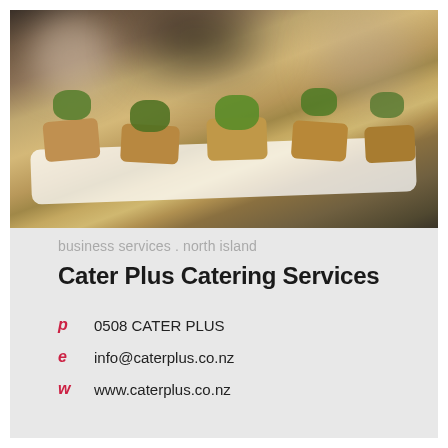[Figure (photo): Close-up photo of bruschetta canapés topped with herbs and mushrooms on a white rectangular plate, with a blurred dark restaurant background]
business services . north island
Cater Plus Catering Services
p  0508 CATER PLUS
e  info@caterplus.co.nz
w  www.caterplus.co.nz